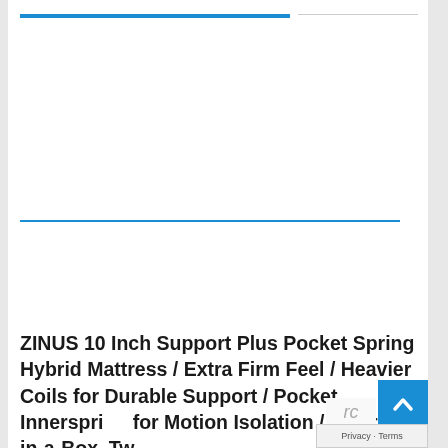ZINUS 10 Inch Support Plus Pocket Spring Hybrid Mattress / Extra Firm Feel / Heavier Coils for Durable Support / Pocket Innerspring for Motion Isolation / Mattress-in-a-Box, Tw